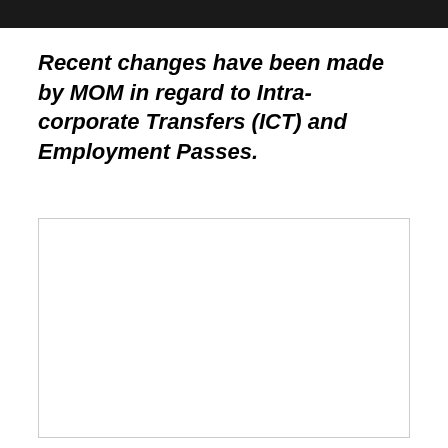Recent changes have been made by MOM in regard to Intra-corporate Transfers (ICT) and Employment Passes.
[Figure (other): Empty white box with light grey border, presumably a placeholder for content.]